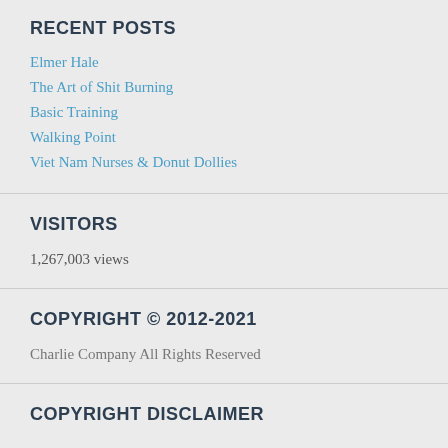RECENT POSTS
Elmer Hale
The Art of Shit Burning
Basic Training
Walking Point
Viet Nam Nurses & Donut Dollies
VISITORS
1,267,003 views
COPYRIGHT © 2012-2021
Charlie Company All Rights Reserved
COPYRIGHT DISCLAIMER